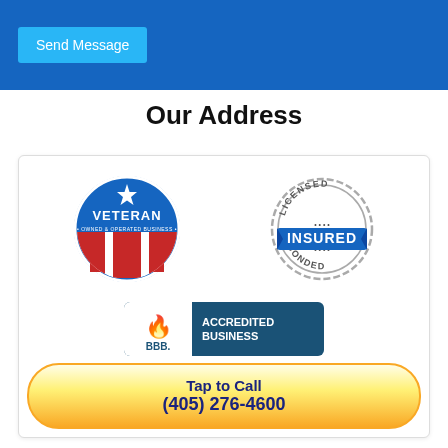Send Message
Our Address
[Figure (logo): Veteran Owned & Operated Business circular badge with star, red and white stripes, and blue background]
[Figure (logo): Licensed Insured Bonded stamp badge with blue ribbon reading INSURED and dotted border]
[Figure (logo): BBB Accredited Business badge with dark teal background and white BBB logo]
Tap to Call
(405) 276-4600